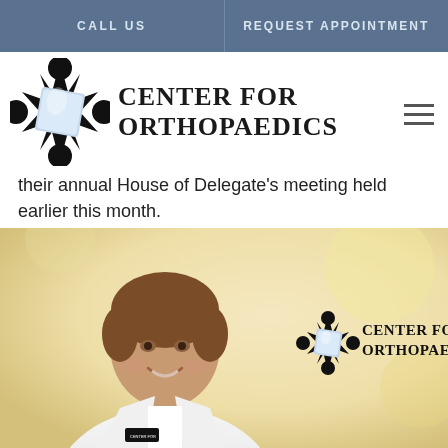CALL US | REQUEST APPOINTMENT
[Figure (logo): Center for Orthopaedics logo with star/sunburst icon and text]
their annual House of Delegate's meeting held earlier this month.
[Figure (photo): Doctor in white coat smiling, with Center for Orthopaedics logo overlaid on warm yellow background]